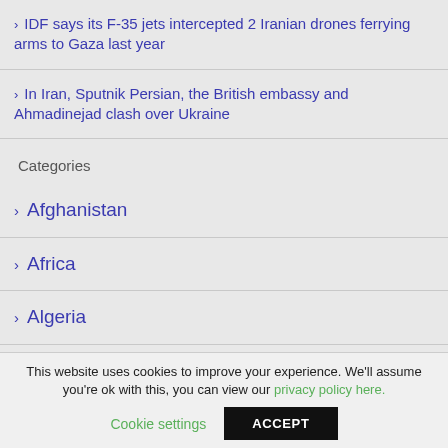IDF says its F-35 jets intercepted 2 Iranian drones ferrying arms to Gaza last year
In Iran, Sputnik Persian, the British embassy and Ahmadinejad clash over Ukraine
Categories
Afghanistan
Africa
Algeria
Arts
This website uses cookies to improve your experience. We'll assume you're ok with this, you can view our privacy policy here.
Cookie settings   ACCEPT